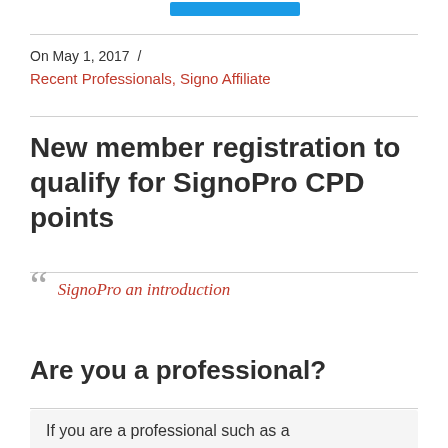[Figure (other): Blue button/banner element at top of page]
On May 1, 2017  /
Recent Professionals, Signo Affiliate
New member registration to qualify for SignoPro CPD points
SignoPro an introduction
Are you a professional?
If you are a professional such as a